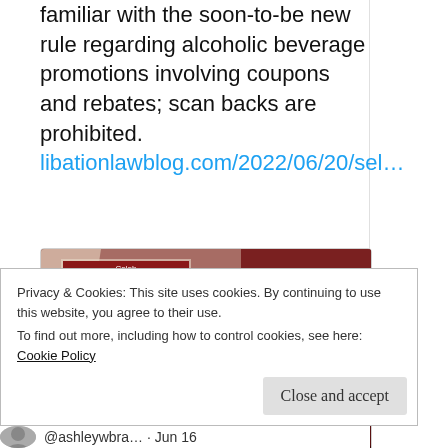familiar with the soon-to-be new rule regarding alcoholic beverage promotions involving coupons and rebates; scan backs are prohibited. libationlawblog.com/2022/06/20/sel…
[Figure (photo): Close-up photo of coupons/circulars showing text 'CASH VALUE COUPON' and 'GOING OUT OF BUSINESS INVENTORY LIQUIDATION' in white text on dark maroon/burgundy banners]
libationlawblog.com
Selling alcoholic beverages in Illinois?
Privacy & Cookies: This site uses cookies. By continuing to use this website, you agree to their use.
To find out more, including how to control cookies, see here: Cookie Policy
Close and accept
@ashleywbra… · Jun 16